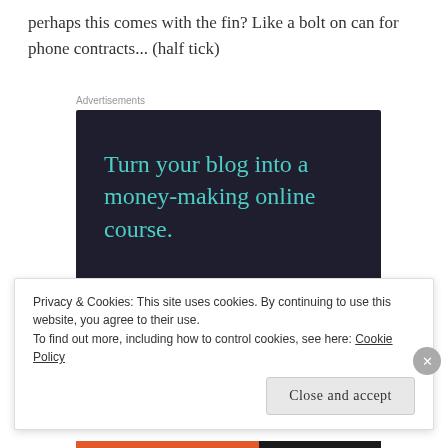perhaps this comes with the fin? Like a bolt on can for phone contracts... (half tick)
Advertisements
[Figure (other): Advertisement banner for online course platform. Dark navy background with teal text reading 'Turn your blog into a money-making online course.' with a teal 'Learn More' button and Sensei logo at bottom right.]
Privacy & Cookies: This site uses cookies. By continuing to use this website, you agree to their use.
To find out more, including how to control cookies, see here: Cookie Policy
Close and accept